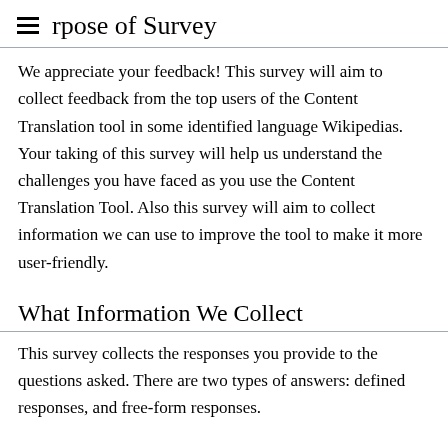rpose of Survey
We appreciate your feedback! This survey will aim to collect feedback from the top users of the Content Translation tool in some identified language Wikipedias. Your taking of this survey will help us understand the challenges you have faced as you use the Content Translation Tool. Also this survey will aim to collect information we can use to improve the tool to make it more user-friendly.
What Information We Collect
This survey collects the responses you provide to the questions asked. There are two types of answers: defined responses, and free-form responses.
Information Sharing and Disclosure
The results of this survey will be shared in the following manner. Aggregate data about the defined-response questions and a deidentified sample of raw answers to the free-form response